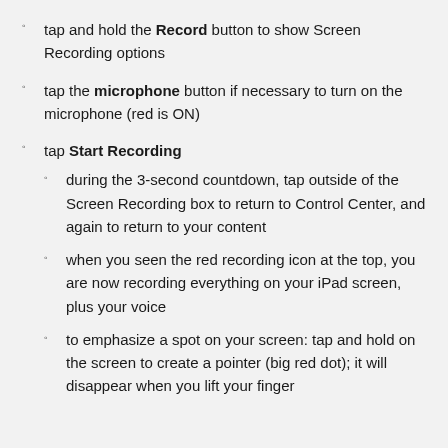tap and hold the Record button to show Screen Recording options
tap the microphone button if necessary to turn on the microphone (red is ON)
tap Start Recording
during the 3-second countdown, tap outside of the Screen Recording box to return to Control Center, and again to return to your content
when you seen the red recording icon at the top, you are now recording everything on your iPad screen, plus your voice
to emphasize a spot on your screen: tap and hold on the screen to create a pointer (big red dot); it will disappear when you lift your finger